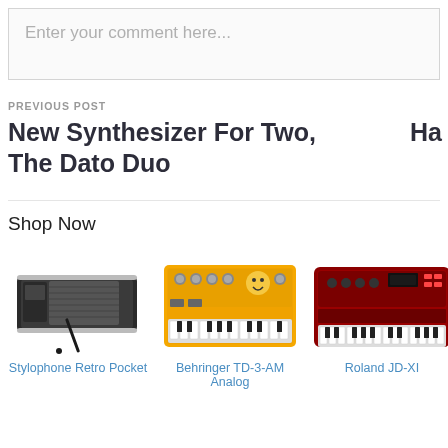Enter your comment here...
PREVIOUS POST
New Synthesizer For Two, The Dato Duo
Ha
Shop Now
[Figure (photo): Stylophone Retro Pocket synthesizer with stylus]
Stylophone Retro Pocket
[Figure (photo): Behringer TD-3-AM Analog yellow synthesizer]
Behringer TD-3-AM Analog
[Figure (photo): Roland JD-XI red synthesizer keyboard]
Roland JD-XI